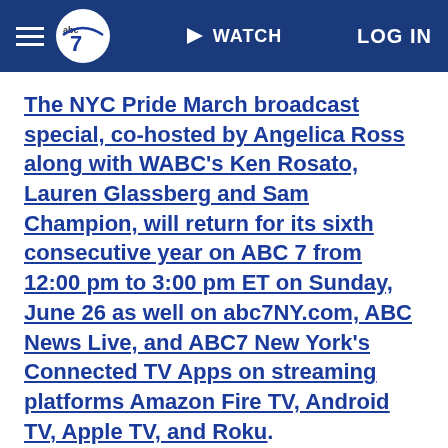abc7 WATCH LOG IN
The NYC Pride March broadcast special, co-hosted by Angelica Ross along with WABC's Ken Rosato, Lauren Glassberg and Sam Champion, will return for its sixth consecutive year on ABC 7 from 12:00 pm to 3:00 pm ET on Sunday, June 26 as well on abc7NY.com, ABC News Live, and ABC7 New York's Connected TV Apps on streaming platforms Amazon Fire TV, Android TV, Apple TV, and Roku.
-----------
* Get Eyewitness News Delivered